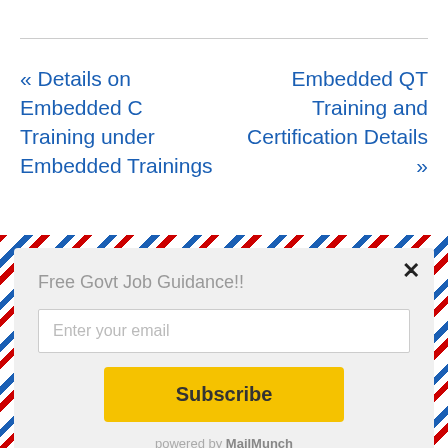« Details on Embedded C Training under Embedded Trainings
Embedded QT Training and Certification Details »
Free Govt Job Guidance!!
Enter your email
Subscribe
powered by MailMunch